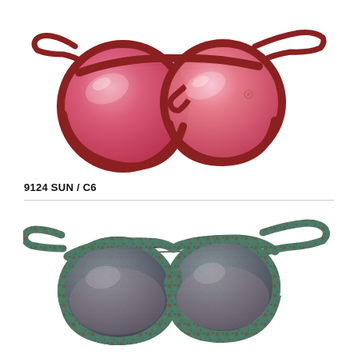[Figure (photo): Red/burgundy round frame sunglasses with pink-red mirrored lenses and a double bridge bar, shown at an angle against white background]
9124 SUN / C6
[Figure (photo): Green/teal tortoise pattern round frame sunglasses with dark gradient lenses and a double bridge bar, shown at an angle against white background]